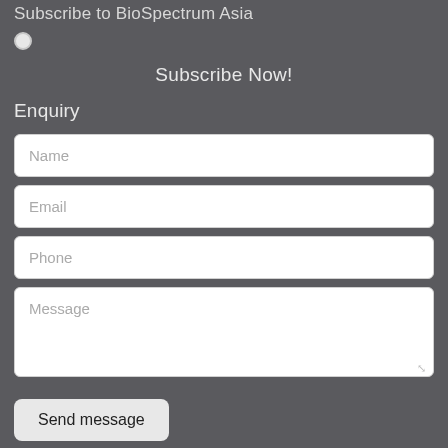Subscribe to BioSpectrum Asia
[Figure (other): Radio button (circle input)]
Subscribe Now!
Enquiry
Name
Email
Phone
Message
Send message
Contact Us